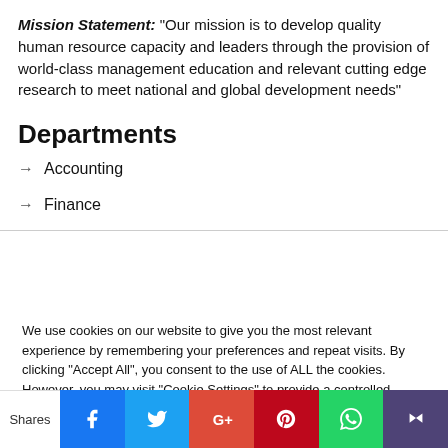Mission Statement: "Our mission is to develop quality human resource capacity and leaders through the provision of world-class management education and relevant cutting edge research to meet national and global development needs"
Departments
→ Accounting
→ Finance
We use cookies on our website to give you the most relevant experience by remembering your preferences and repeat visits. By clicking "Accept All", you consent to the use of ALL the cookies. However, you may visit "Cookie Settings" to provide a controlled consent.
Shares | Facebook | Twitter | Google+ | Pinterest | WhatsApp | Crown